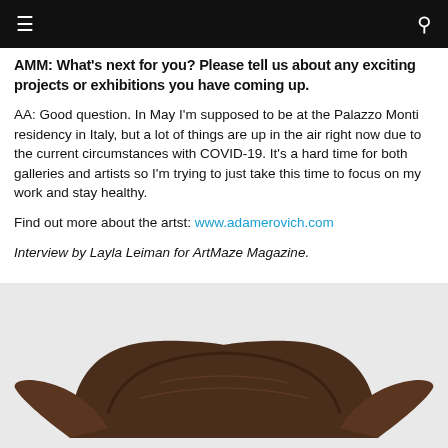≡  🔍
AMM: What's next for you? Please tell us about any exciting projects or exhibitions you have coming up.
AA: Good question. In May I'm supposed to be at the Palazzo Monti residency in Italy, but a lot of things are up in the air right now due to the current circumstances with COVID-19. It's a hard time for both galleries and artists so I'm trying to just take this time to focus on my work and stay healthy.
Find out more about the artst: www.adamerovich.com
Interview by Layla Leiman for ArtMaze Magazine.
[Figure (photo): A dark brown wooden sculpture with curved wing-like extensions, photographed against a light grey/white background.]